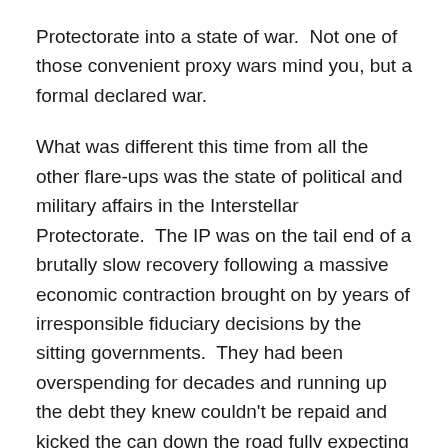Protectorate into a state of war.  Not one of those convenient proxy wars mind you, but a formal declared war.
What was different this time from all the other flare-ups was the state of political and military affairs in the Interstellar Protectorate.  The IP was on the tail end of a brutally slow recovery following a massive economic contraction brought on by years of irresponsible fiduciary decisions by the sitting governments.  They had been overspending for decades and running up the debt they knew couldn't be repaid and kicked the can down the road fully expecting the following generations to sort it out long after the politicians were out of office–or cold in their graves–without suffering the inconvenience of facing responsibility for their actions.